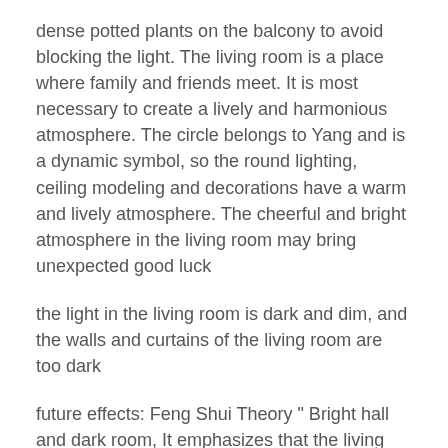dense potted plants on the balcony to avoid blocking the light. The living room is a place where family and friends meet. It is most necessary to create a lively and harmonious atmosphere. The circle belongs to Yang and is a dynamic symbol, so the round lighting, ceiling modeling and decorations have a warm and lively atmosphere. The cheerful and bright atmosphere in the living room may bring unexpected good luck
the light in the living room is dark and dim, and the walls and curtains of the living room are too dark
future effects: Feng Shui Theory " Bright hall and dark room, It emphasizes that the living room should be brighter and full of light than the room. A bright living room can bring strong family fortune. On the contrary, it may lead to the interruption of financial fortune